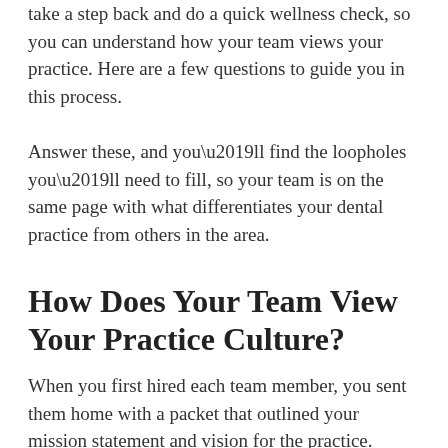take a step back and do a quick wellness check, so you can understand how your team views your practice. Here are a few questions to guide you in this process.
Answer these, and you’ll find the loopholes you’ll need to fill, so your team is on the same page with what differentiates your dental practice from others in the area.
How Does Your Team View Your Practice Culture?
When you first hired each team member, you sent them home with a packet that outlined your mission statement and vision for the practice. Although they